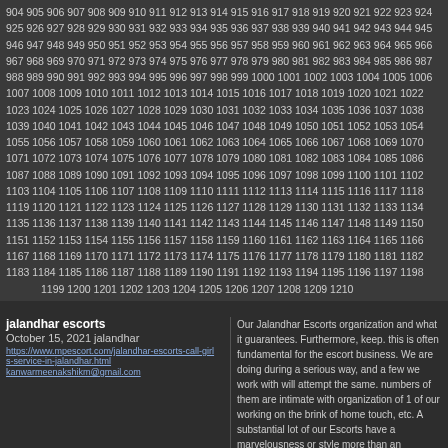904 905 906 907 908 909 910 911 912 913 914 915 916 917 918 919 920 921 922 923 924 925 926 927 928 929 930 931 932 933 934 935 936 937 938 939 940 941 942 943 944 945 946 947 948 949 950 951 952 953 954 955 956 957 958 959 960 961 962 963 964 965 966 967 968 969 970 971 972 973 974 975 976 977 978 979 980 981 982 983 984 985 986 987 988 989 990 991 992 993 994 995 996 997 998 999 1000 1001 1002 1003 1004 1005 1006 1007 1008 1009 1010 1011 1012 1013 1014 1015 1016 1017 1018 1019 1020 1021 1022 1023 1024 1025 1026 1027 1028 1029 1030 1031 1032 1033 1034 1035 1036 1037 1038 1039 1040 1041 1042 1043 1044 1045 1046 1047 1048 1049 1050 1051 1052 1053 1054 1055 1056 1057 1058 1059 1060 1061 1062 1063 1064 1065 1066 1067 1068 1069 1070 1071 1072 1073 1074 1075 1076 1077 1078 1079 1080 1081 1082 1083 1084 1085 1086 1087 1088 1089 1090 1091 1092 1093 1094 1095 1096 1097 1098 1099 1100 1101 1102 1103 1104 1105 1106 1107 1108 1109 1110 1111 1112 1113 1114 1115 1116 1117 1118 1119 1120 1121 1122 1123 1124 1125 1126 1127 1128 1129 1130 1131 1132 1133 1134 1135 1136 1137 1138 1139 1140 1141 1142 1143 1144 1145 1146 1147 1148 1149 1150 1151 1152 1153 1154 1155 1156 1157 1158 1159 1160 1161 1162 1163 1164 1165 1166 1167 1168 1169 1170 1171 1172 1173 1174 1175 1176 1177 1178 1179 1180 1181 1182 1183 1184 1185 1186 1187 1188 1189 1190 1191 1192 1193 1194 1195 1196 1197 1198 1199 1200 1201 1202 1203 1204 1205 1206 1207 1208 1209 1210
jalandhar escorts
October 15, 2021 jalandhar
https://www.mpescort.com/jalandhar-escorts-call-girls-service-in-jalandhar.html
kanwarmeenakshikm@gmail.com
Our Jalandhar Escorts organization and what it guarantees. Furthermore, keep. this is often fundamental for the escort business. We are doing during a serious way, and a few we work with will attempt the same. numbers of them are intimate with organization of 1 of our working on the brink of home touch, etc. A substantial lot of our Escorts have a marvelousness or style more than an excessive amount of . More fascinations for English a
amritsar escorts
October 15, 2021 amritsar
https://www.mpescort.com/amritsar-escorts-call-girls-service-in-amritsar.html
The most charming spot it. Amritsar Fun Club is offering Amritsar. We request you